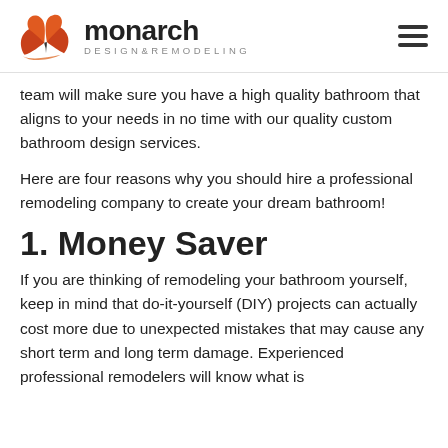monarch DESIGN & REMODELING
team will make sure you have a high quality bathroom that aligns to your needs in no time with our quality custom bathroom design services.
Here are four reasons why you should hire a professional remodeling company to create your dream bathroom!
1. Money Saver
If you are thinking of remodeling your bathroom yourself, keep in mind that do-it-yourself (DIY) projects can actually cost more due to unexpected mistakes that may cause any short term and long term damage. Experienced professional remodelers will know what is